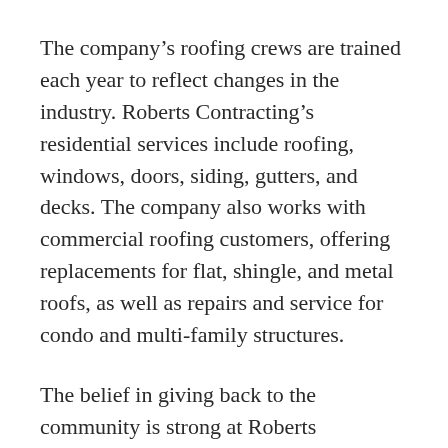The company's roofing crews are trained each year to reflect changes in the industry. Roberts Contracting's residential services include roofing, windows, doors, siding, gutters, and decks. The company also works with commercial roofing customers, offering replacements for flat, shingle, and metal roofs, as well as repairs and service for condo and multi-family structures.
The belief in giving back to the community is strong at Roberts Contracting. The company has donated roofs and siding to projects for the police department and the pavilion at Thomas Felten Park in Plattekill, United Memorial Methodist Church in Modena, and a cancer patient in Clintondale. Roberts Contracting also raises and donates money for charitable endeavors, including